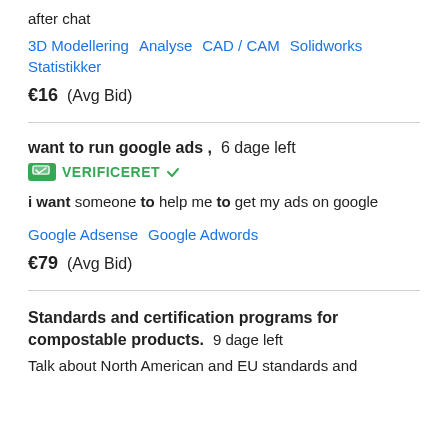after chat
3D Modellering   Analyse   CAD / CAM   Solidworks   Statistikker
€16  (Avg Bid)
want to run google ads ,  6 dage left
VERIFICERET
i want someone to help me to get my ads on google
Google Adsense   Google Adwords
€79  (Avg Bid)
Standards and certification programs for compostable products.  9 dage left
Talk about North American and EU standards and